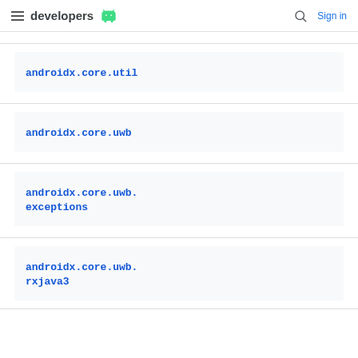developers | Sign in
androidx.core.util
androidx.core.uwb
androidx.core.uwb.exceptions
androidx.core.uwb.rxjava3